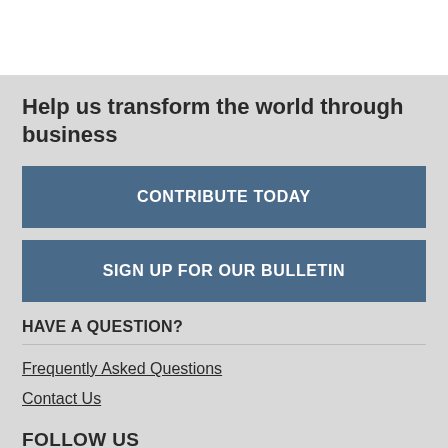Help us transform the world through business
CONTRIBUTE TODAY
SIGN UP FOR OUR BULLETIN
HAVE A QUESTION?
Frequently Asked Questions
Contact Us
FOLLOW US